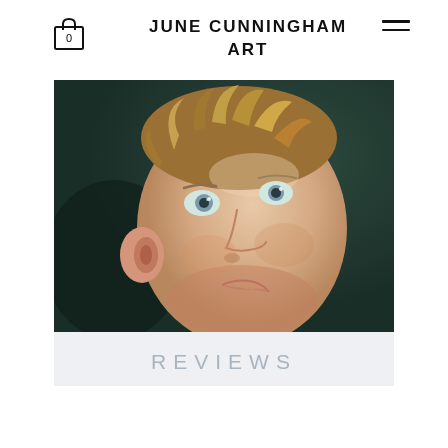JUNE CUNNINGHAM ART
[Figure (photo): Oil painting portrait of a young boy with short tousled blonde/brown hair, blue-grey eyes looking upward, pale skin with subtle pink tones, prominent ear visible on the left side, dark background with shadow. Realistic portrait painting style.]
REVIEWS